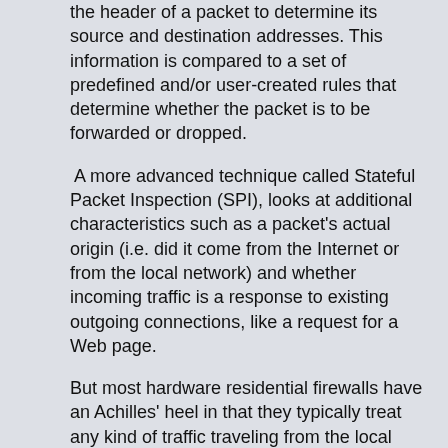the header of a packet to determine its source and destination addresses. This information is compared to a set of predefined and/or user-created rules that determine whether the packet is to be forwarded or dropped.
A more advanced technique called Stateful Packet Inspection (SPI), looks at additional characteristics such as a packet's actual origin (i.e. did it come from the Internet or from the local network) and whether incoming traffic is a response to existing outgoing connections, like a request for a Web page.
But most hardware residential firewalls have an Achilles' heel in that they typically treat any kind of traffic traveling from the local network out to the Internet as safe, which can sometimes be a problem.
Consider this scenario: What would